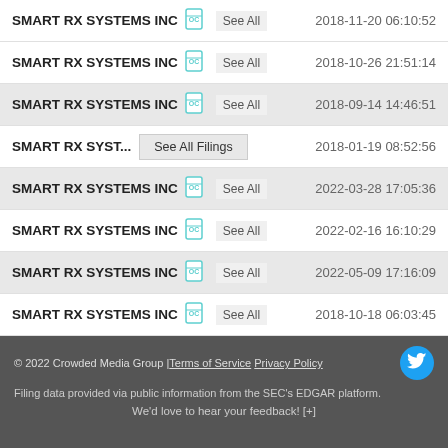SMART RX SYSTEMS INC  See All  2018-11-20 06:10:52
SMART RX SYSTEMS INC  See All  2018-10-26 21:51:14
SMART RX SYSTEMS INC  See All  2018-09-14 14:46:51
SMART RX SYST...  See All Filings  2018-01-19 08:52:56
SMART RX SYSTEMS INC  See All  2022-03-28 17:05:36
SMART RX SYSTEMS INC  See All  2022-02-16 16:10:29
SMART RX SYSTEMS INC  See All  2022-05-09 17:16:09
SMART RX SYSTEMS INC  See All  2018-10-18 06:03:45
© 2022 Crowded Media Group | Terms of Service  Privacy Policy
Filing data provided via public information from the SEC's EDGAR platform.
We'd love to hear your feedback! [+]